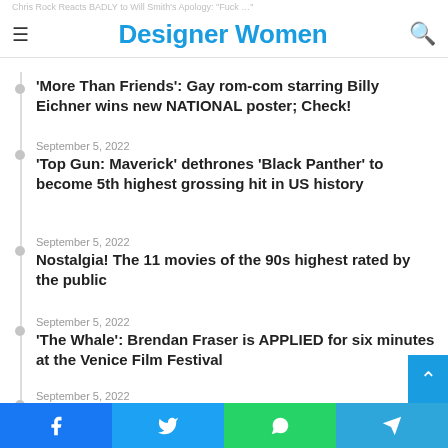Chris Rock Reacts BADLY to Will Smith's Apology: "Fuck …"
Designer Women
'More Than Friends': Gay rom-com starring Billy Eichner wins new NATIONAL poster; Check!
September 5, 2022
'Top Gun: Maverick' dethrones 'Black Panther' to become 5th highest grossing hit in US history
September 5, 2022
Nostalgia! The 11 movies of the 90s highest rated by the public
September 5, 2022
'The Whale': Brendan Fraser is APPLIED for six minutes at the Venice Film Festival
September 5, 2022
Viola Davis will come to Brazil to promote 'A Mulher Rei', a war epic in the style of 'Black Panther'